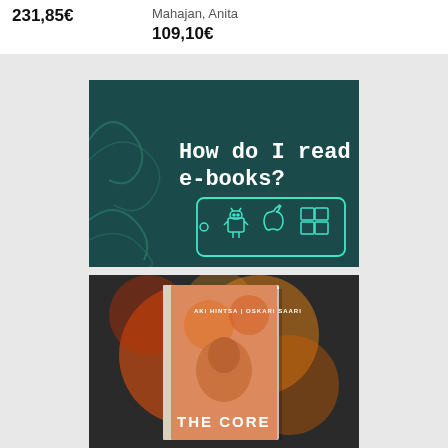231,85€
Mahajan, Anita
109,10€
[Figure (illustration): Dark teal banner with text 'How do I read e-books?' and illustrations of a tablet showing Android, Apple, and Windows logos]
[Figure (photo): Book cover of 'The Core' by Aki Hintsa and Oskari Saari, showing a man's face on an orange/red bokeh background]